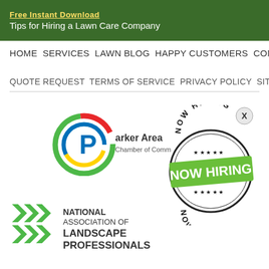Free Instant Download
Tips for Hiring a Lawn Care Company
HOME  SERVICES  LAWN BLOG  HAPPY CUSTOMERS  CONTACT
QUOTE REQUEST  TERMS OF SERVICE  PRIVACY POLICY  SITEMAP
[Figure (logo): Parker Area Chamber of Commerce circular logo with colorful arcs]
[Figure (logo): NOW HIRING stamp graphic with circular border and green banner text]
[Figure (logo): National Association of Landscape Professionals logo with green X marks]
[Figure (logo): Associated Landscape Contractors of Colorado - Better By Nature logo with tree graphic]